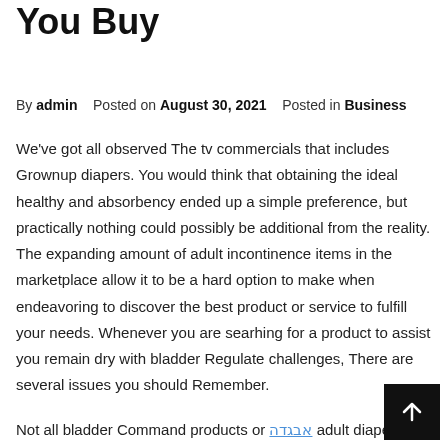You Buy
By admin   Posted on August 30, 2021   Posted in Business
We've got all observed The tv commercials that includes Grownup diapers. You would think that obtaining the ideal healthy and absorbency ended up a simple preference, but practically nothing could possibly be additional from the reality. The expanding amount of adult incontinence items in the marketplace allow it to be a hard option to make when endeavoring to discover the best product or service to fulfill your needs. Whenever you are searhing for a product to assist you remain dry with bladder Regulate challenges, There are several issues you should Remember.
Not all bladder Command products or [link] adult diapers are produced equal. There are some discrepancies in the extent of